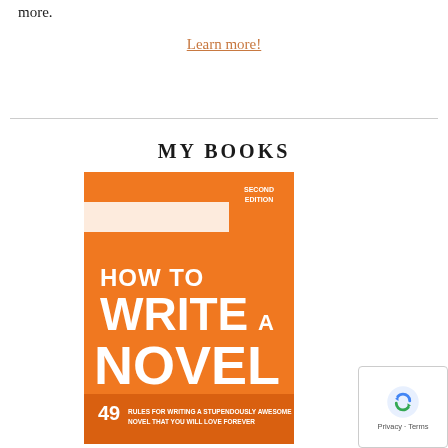more.
Learn more!
MY BOOKS
[Figure (photo): Book cover for 'How To Write A Novel' Second Edition. Orange cover with bold white and orange text. Subtitle: '49 Rules for Writing a Stupendously Awesome Novel That You Will Love Forever']